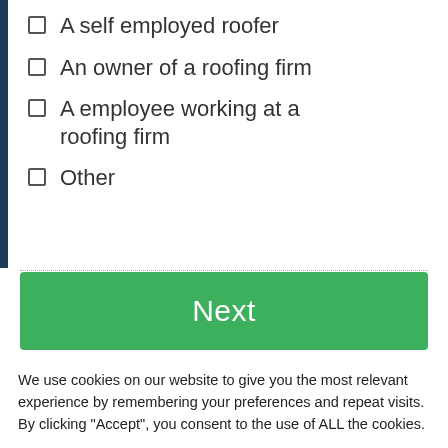A self employed roofer
An owner of a roofing firm
A employee working at a roofing firm
Other
Next
We use cookies on our website to give you the most relevant experience by remembering your preferences and repeat visits. By clicking “Accept”, you consent to the use of ALL the cookies.
Cookie settings
ACCEPT